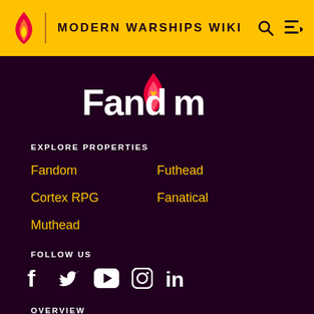MODERN WARSHIPS WIKI
[Figure (logo): Fandom logo with flame icon and heart, white text on dark purple background]
EXPLORE PROPERTIES
Fandom
Futhead
Cortex RPG
Fanatical
Muthead
FOLLOW US
[Figure (infographic): Social media icons: Facebook, Twitter, YouTube, Instagram, LinkedIn]
OVERVIEW